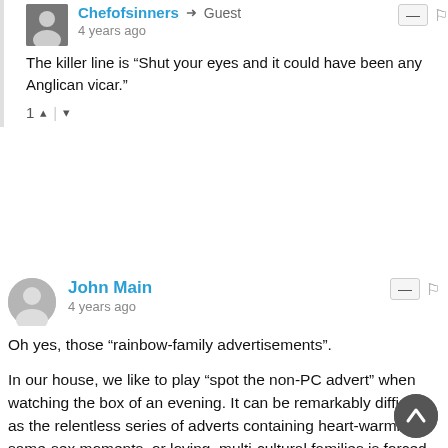Chefofsinners → Guest
4 years ago
The killer line is “Shut your eyes and it could have been any Anglican vicar.”
1 ▲ | ▼
John Main
4 years ago
Oh yes, those “rainbow-family advertisements”.
In our house, we like to play “spot the non-PC advert” when watching the box of an evening. It can be remarkably difficult, as the relentless series of adverts containing heart-warming, same-sex moments, or loving, multi-cultural families is forced down our throats. But what joy when we find a rare, monocultural, traditional roles couple or family depicted in an almost-believable scenario.
The reality is that the proportion of same-sex and/or multi-cultural relationships known to us in our real lives is inversely represented in the advertosphere. Thus, adland